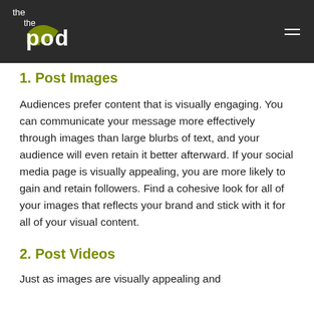the pod
1. Post Images
Audiences prefer content that is visually engaging. You can communicate your message more effectively through images than large blurbs of text, and your audience will even retain it better afterward. If your social media page is visually appealing, you are more likely to gain and retain followers. Find a cohesive look for all of your images that reflects your brand and stick with it for all of your visual content.
2. Post Videos
Just as images are visually appealing and